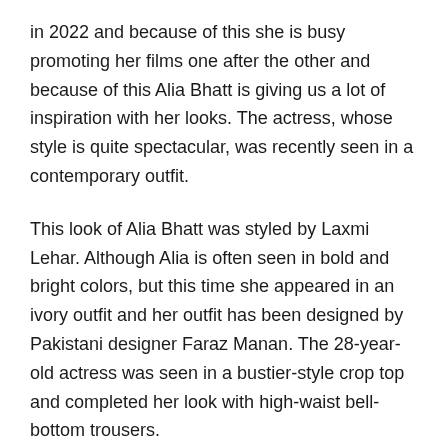in 2022 and because of this she is busy promoting her films one after the other and because of this Alia Bhatt is giving us a lot of inspiration with her looks. The actress, whose style is quite spectacular, was recently seen in a contemporary outfit.
This look of Alia Bhatt was styled by Laxmi Lehar. Although Alia is often seen in bold and bright colors, but this time she appeared in an ivory outfit and her outfit has been designed by Pakistani designer Faraz Manan. The 28-year-old actress was seen in a bustier-style crop top and completed her look with high-waist bell-bottom trousers.